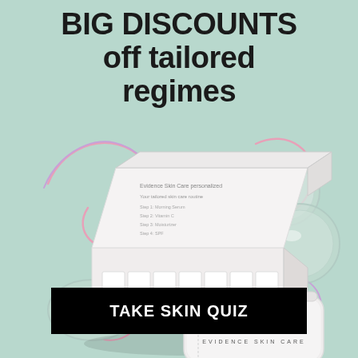BIG DISCOUNTS off tailored regimes
[Figure (illustration): ESK Evidence Skin Care product box open with sample sachets inside, alongside a white zippered travel case branded E·S·K Evidence Skin Care, glass petri dishes with cream, and decorative swirl lines in pink and purple on a mint green background.]
TAKE SKIN QUIZ